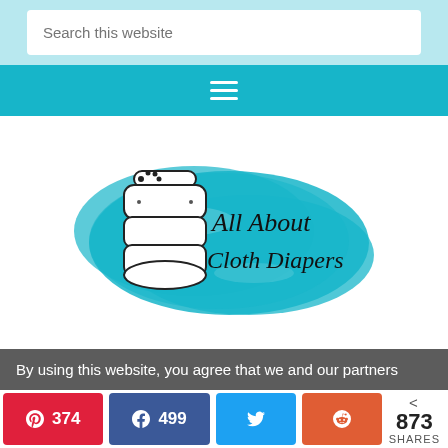[Figure (screenshot): Search bar input with placeholder text 'Search this website' on a light blue background]
[Figure (screenshot): Teal navigation bar with hamburger menu icon (three horizontal lines)]
[Figure (logo): All About Cloth Diapers logo: illustrated cloth diaper with cursive text 'All About Cloth Diapers' on a teal brushstroke background]
By using this website, you agree that we and our partners
[Figure (infographic): Social share bar with Pinterest 374, Facebook 499, Twitter (no count), Reddit (no count), and total 873 SHARES]